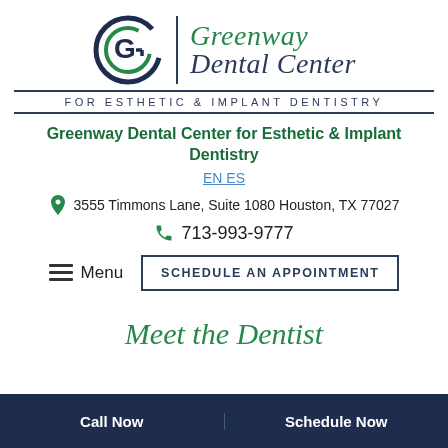[Figure (logo): Greenway Dental Center logo with circular GD icon and script text 'Greenway Dental Center', tagline 'FOR ESTHETIC & IMPLANT DENTISTRY']
Greenway Dental Center for Esthetic & Implant Dentistry
EN ES
3555 Timmons Lane, Suite 1080 Houston, TX 77027
713-993-9777
Menu   SCHEDULE AN APPOINTMENT
Meet the Dentist
Call Now   Schedule Now